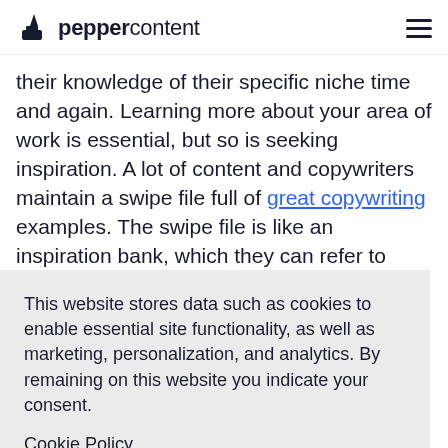peppercontent
their knowledge of their specific niche time and again. Learning more about your area of work is essential, but so is seeking inspiration. A lot of content and copywriters maintain a swipe file full of great copywriting examples. The swipe file is like an inspiration bank, which they can refer to writing is a ten buyers into an ting
This website stores data such as cookies to enable essential site functionality, as well as marketing, personalization, and analytics. By remaining on this website you indicate your consent.
Cookie Policy